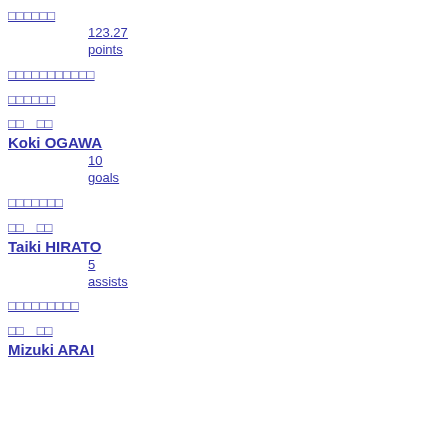□□□□□□
123.27
points
□□□□□□□□□□□
□□□□□□
□□　□□
Koki OGAWA
10
goals
□□□□□□□
□□　□□
Taiki HIRATO
5
assists
□□□□□□□□□
□□　□□
Mizuki ARAI